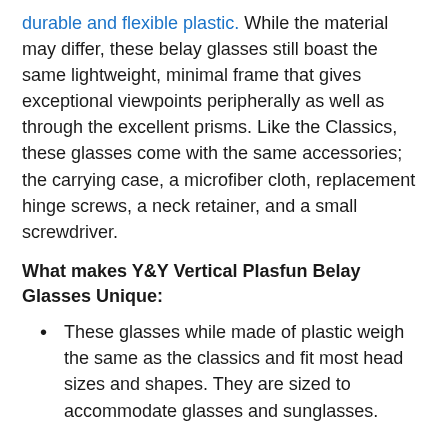durable and flexible plastic. While the material may differ, these belay glasses still boast the same lightweight, minimal frame that gives exceptional viewpoints peripherally as well as through the excellent prisms. Like the Classics, these glasses come with the same accessories; the carrying case, a microfiber cloth, replacement hinge screws, a neck retainer, and a small screwdriver.
What makes Y&Y Vertical Plasfun Belay Glasses Unique:
These glasses while made of plastic weigh the same as the classics and fit most head sizes and shapes. They are sized to accommodate glasses and sunglasses.